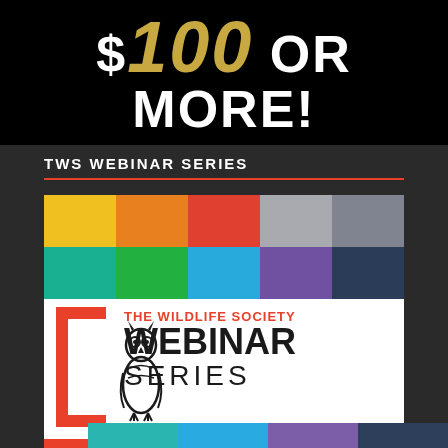[Figure (illustration): Black background banner showing '$100 or MORE!' promotional text in white and gold/yellow colors]
TWS WEBINAR SERIES
[Figure (logo): The Wildlife Society Webinar Series logo image featuring a color grid at top (yellow, orange, red, grey, grey rows; teal, green, blue, purple, navy rows), an owl illustration, a red bracket, and text 'THE WILDLIFE SOCIETY WEBINAR SERIES' with a red banner at the bottom reading 'Featuring TWS Working Groups']